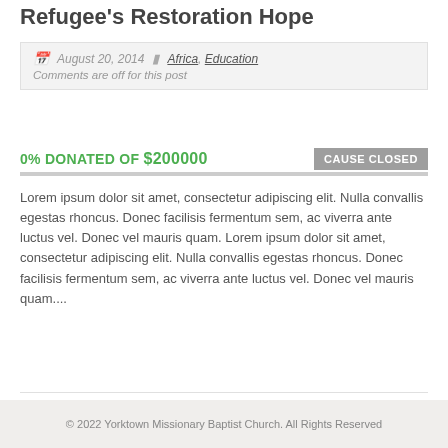Refugee's Restoration Hope
August 20, 2014   Africa, Education
Comments are off for this post
0% DONATED OF $200000   CAUSE CLOSED
Lorem ipsum dolor sit amet, consectetur adipiscing elit. Nulla convallis egestas rhoncus. Donec facilisis fermentum sem, ac viverra ante luctus vel. Donec vel mauris quam. Lorem ipsum dolor sit amet, consectetur adipiscing elit. Nulla convallis egestas rhoncus. Donec facilisis fermentum sem, ac viverra ante luctus vel. Donec vel mauris quam....
© 2022 Yorktown Missionary Baptist Church. All Rights Reserved